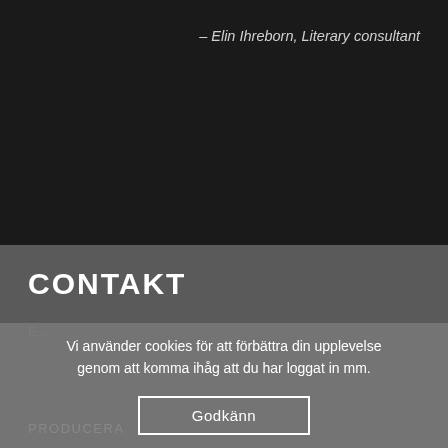– Elin Ihreborn, Literary consultant
CONTAKT
Vi använder cookies för att förbättra din upplevelse genom att komma ihåg att du har loggat in mm.
Godkänn
PRODUCERA